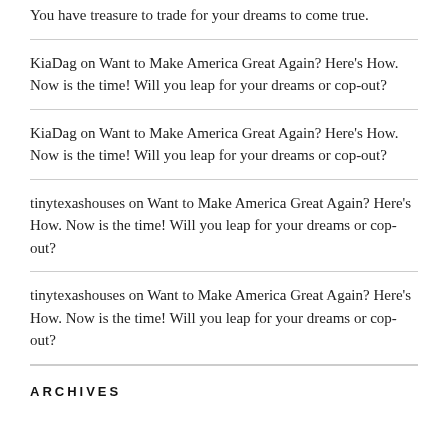You have treasure to trade for your dreams to come true.
KiaDag on Want to Make America Great Again? Here's How. Now is the time! Will you leap for your dreams or cop-out?
KiaDag on Want to Make America Great Again? Here's How. Now is the time! Will you leap for your dreams or cop-out?
tinytexashouses on Want to Make America Great Again? Here's How. Now is the time! Will you leap for your dreams or cop-out?
tinytexashouses on Want to Make America Great Again? Here's How. Now is the time! Will you leap for your dreams or cop-out?
ARCHIVES